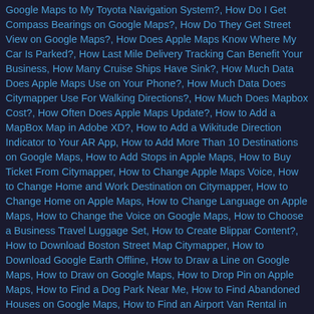Google Maps to My Toyota Navigation System?, How Do I Get Compass Bearings on Google Maps?, How Do They Get Street View on Google Maps?, How Does Apple Maps Know Where My Car Is Parked?, How Last Mile Delivery Tracking Can Benefit Your Business, How Many Cruise Ships Have Sink?, How Much Data Does Apple Maps Use on Your Phone?, How Much Data Does Citymapper Use For Walking Directions?, How Much Does Mapbox Cost?, How Often Does Apple Maps Update?, How to Add a MapBox Map in Adobe XD?, How to Add a Wikitude Direction Indicator to Your AR App, How to Add More Than 10 Destinations on Google Maps, How to Add Stops in Apple Maps, How to Buy Ticket From Citymapper, How to Change Apple Maps Voice, How to Change Home and Work Destination on Citymapper, How to Change Home on Apple Maps, How to Change Language on Apple Maps, How to Change the Voice on Google Maps, How to Choose a Business Travel Luggage Set, How to Create Blippar Content?, How to Download Boston Street Map Citymapper, How to Download Google Earth Offline, How to Draw a Line on Google Maps, How to Draw on Google Maps, How to Drop Pin on Apple Maps, How to Find a Dog Park Near Me, How to Find Abandoned Houses on Google Maps, How to Find an Airport Van Rental in New York, How to Find Antique Stores Near Me, How to Find East West North South Directions on Google Maps, How to Find Mile Markers on Google Maps, How to Find Out About